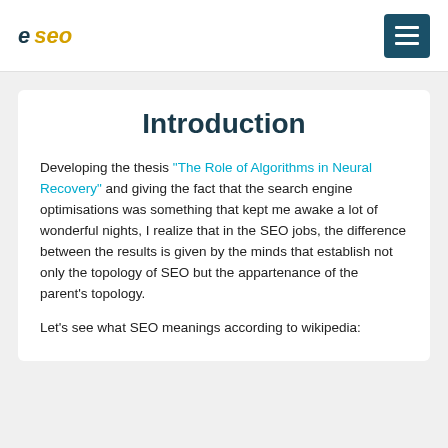e seo
Introduction
Developing the thesis "The Role of Algorithms in Neural Recovery" and giving the fact that the search engine optimisations was something that kept me awake a lot of wonderful nights, I realize that in the SEO jobs, the difference between the results is given by the minds that establish not only the topology of SEO but the appartenance of the parent's topology.
Let's see what SEO meanings according to wikipedia: